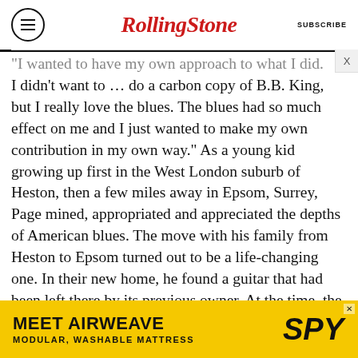RollingStone | SUBSCRIBE
'I wanted to have my own approach to what I did. I didn't want to … do a carbon copy of B.B. King, but I really love the blues. The blues had so much effect on me and I just wanted to make my own contribution in my own way.' As a young kid growing up first in the West London suburb of Heston, then a few miles away in Epsom, Surrey, Page mined, appropriated and appreciated the depths of American blues. The move with his family from Heston to Epsom turned out to be a life-changing one. In their new home, he found a guitar that had been left there by its previous owner. At the time, the instrument did not excite the eight-year-old James Patrick Page. It was 1952, rock & roll wasn't even on the radio yet, an…
[Figure (other): Advertisement banner: MEET AIRWEAVE – MODULAR, WASHABLE MATTRESS with SPY logo on yellow background]